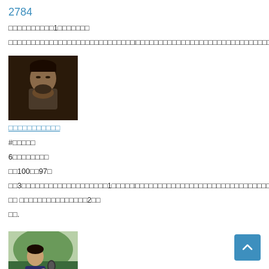2784
□□□□□□□□□□1□□□□□□□
□□□□□□□□□□□□□□□□□□□□□□□□□□□□□□□□□□□□□□□□□□□□□□□□□□□□□□□□□□□□□□□□□□□□□□□□□□□□□□....
[Figure (photo): Portrait photo of a man with beard]
□□□□□□□□□□□
#□□□□□
6□□□□□□□□
□□100□□97□
□□3□□□□□□□□□□□□□□□□□□□1□□□□□□□□□□□□□□□□□□□□□□□□□□□□□□□□□□□□□□□□□□□□□□□□□□□□□□□□□□□□□□□
□□ □□□□□□□□□□□□□□□2□□
□□.
[Figure (photo): Person holding a microphone outdoors]
□□
□□□□□□□□□□□□□□□□□□□□□□□□□□□□□□□□□□□□□□□.